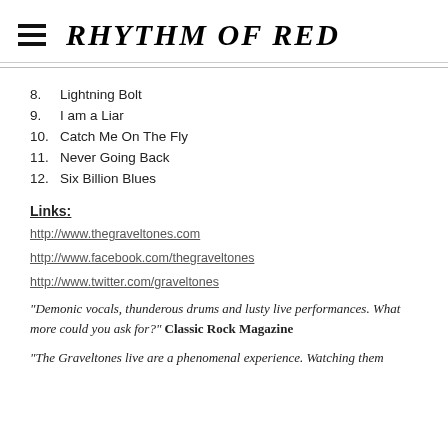RHYTHM OF RED
8.   Lightning Bolt
9.   I am a Liar
10.  Catch Me On The Fly
11.  Never Going Back
12.  Six Billion Blues
Links:
http://www.thegraveltones.com
http://www.facebook.com/thegraveltones
http://www.twitter.com/graveltones
"Demonic vocals, thunderous drums and lusty live performances. What more could you ask for?" Classic Rock Magazine
"The Graveltones live are a phenomenal experience. Watching them